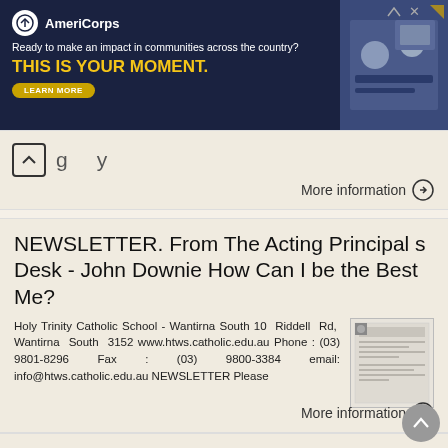[Figure (other): AmeriCorps advertisement banner with dark navy background. Logo and text: 'Ready to make an impact in communities across the country? THIS IS YOUR MOMENT.' with LEARN MORE button and photo of people on right.]
More information →
NEWSLETTER. From The Acting Principal s Desk - John Downie How Can I be the Best Me?
Holy Trinity Catholic School - Wantirna South 10 Riddell Rd, Wantirna South 3152 www.htws.catholic.edu.au Phone : (03) 9801-8296 Fax : (03) 9800-3384 email: info@htws.catholic.edu.au NEWSLETTER Please
More information →
BOOKING.COM CONNECTION PROCEDURE